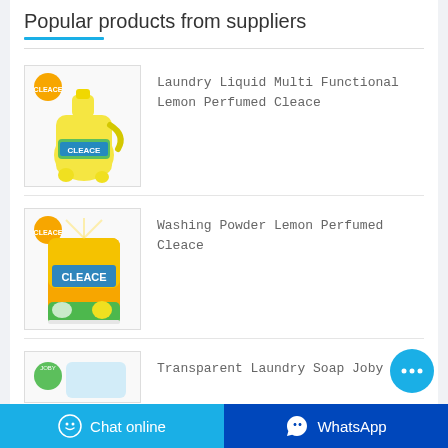Popular products from suppliers
[Figure (photo): Laundry Liquid Multi Functional Lemon Perfumed Cleace product bottle in yellow container with Cleace branding]
Laundry Liquid Multi Functional Lemon Perfumed Cleace
[Figure (photo): Washing Powder Lemon Perfumed Cleace product in orange and yellow bag with Cleace branding]
Washing Powder Lemon Perfumed Cleace
[Figure (photo): Transparent Laundry Soap Joby product partially visible]
Transparent Laundry Soap Joby
Chat online   WhatsApp